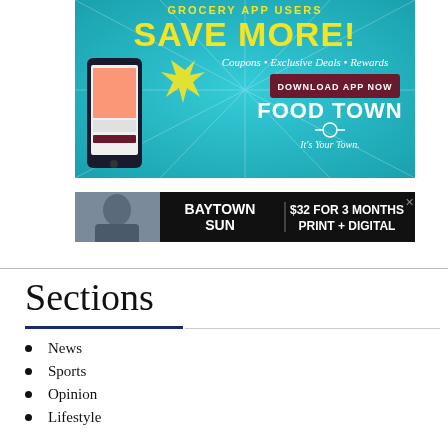[Figure (photo): Food Town grocery app advertisement on teal background with 'SAVE MORE!' text in yellow, Coupons, Exclusive Deals, Rewards tagline, Download App Now button, and Food Town logo with phone mockup]
[Figure (photo): Baytown Sun newspaper advertisement: '$32 FOR 3 MONTHS PRINT + DIGITAL' on black background with person photo on left]
Sections
News
Sports
Opinion
Lifestyle